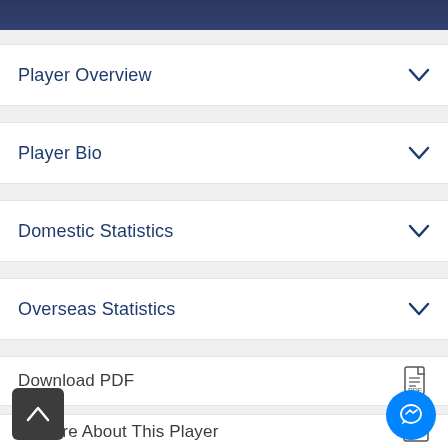[Figure (photo): Top strip showing partial photo of a person in dark blue jacket/blazer, cropped]
Player Overview
Player Bio
Domestic Statistics
Overseas Statistics
Download PDF
Enquire About This Player